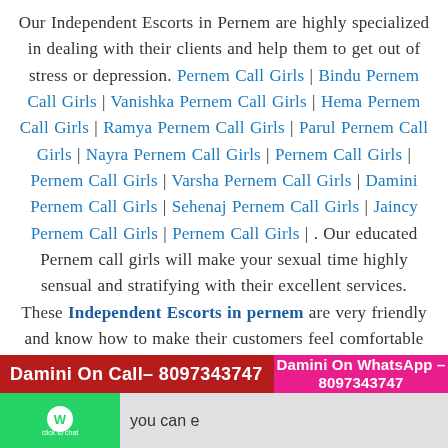Our Independent Escorts in Pernem are highly specialized in dealing with their clients and help them to get out of stress or depression. Pernem Call Girls | Bindu Pernem Call Girls | Vanishka Pernem Call Girls | Hema Pernem Call Girls | Ramya Pernem Call Girls | Parul Pernem Call Girls | Nayra Pernem Call Girls | Pernem Call Girls | Pernem Call Girls | Varsha Pernem Call Girls | Damini Pernem Call Girls | Sehenaj Pernem Call Girls | Jaincy Pernem Call Girls | Pernem Call Girls | . Our educated Pernem call girls will make your sexual time highly sensual and stratifying with their excellent services. These Independent Escorts in pernem are very friendly and know how to make their customers feel comfortable and relaxed in their
Damini On Call– 8097343747   Damini On WhatsApp – 8097343747